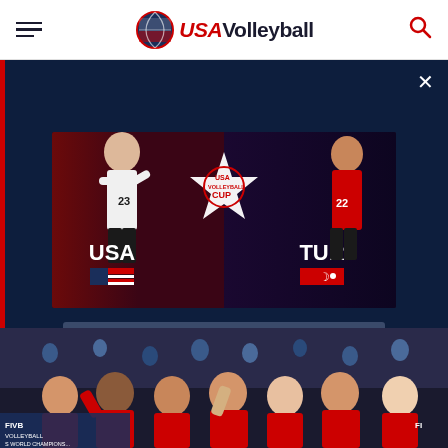USA Volleyball website header with hamburger menu, USA Volleyball logo, and search icon
[Figure (screenshot): Dark navy modal overlay with close (X) button, USA Cup volleyball promotional image showing USA vs TUR matchup with player photos and star logo, and a 'GET TICKETS TO THE USAV CUP >' button]
[Figure (photo): Bottom portion showing celebrating female volleyball players in red uniforms with FIVB World Championship banner visible in background]